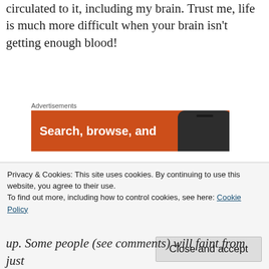circulated to it, including my brain. Trust me, life is much more difficult when your brain isn't getting enough blood!
Advertisements
[Figure (screenshot): Orange advertisement banner with text 'Search, browse, and' and a dark smartphone image on the right side]
So this is why I don't understand why so many people with POTS choose not to wear compression stockings.
Edit: I don't want to create insensitive non-sickies, so
Privacy & Cookies: This site uses cookies. By continuing to use this website, you agree to their use.
To find out more, including how to control cookies, see here: Cookie Policy
Close and accept
up. Some people (see comments) will faint from just